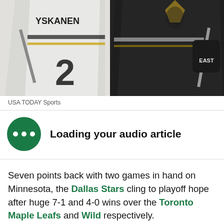[Figure (photo): Two hockey players in Pittsburgh Penguins jerseys. Left player wears white jersey with number 2 and name YSKANEN. Right player wears black jersey with Penguins logo. Yellow boards visible in background.]
USA TODAY Sports
Loading your audio article
Seven points back with two games in hand on Minnesota, the Dallas Stars cling to playoff hope after huge 7-1 and 4-0 wins over the Toronto Maple Leafs and Wild respectively.